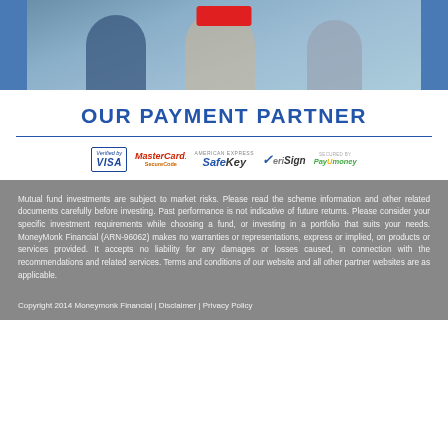[Figure (photo): Photo of people consulting, with a red button overlay at top center. Blue-toned background with figures visible.]
OUR PAYMENT PARTNER
[Figure (infographic): Payment partner logos row: Verified by VISA, MasterCard SecureCode, American Express SafeKey, VeriSign, Secured by PayUMoney]
Mutual fund investments are subject to market risks. Please read the scheme information and other related documents carefully before investing. Past performance is not indicative of future returns. Please consider your specific investment requirements while choosing a fund, or investing in a portfolio that suits your needs. MoneyMonk Financial (ARN-96062) makes no warranties or representations, express or implied, on products or services provided. It accepts no liability for any damages or losses caused, in connection with the recommendations and related services. Terms and conditions of our website and all other partner websites are as applicable.
Copyright 2014 Moneymonk Financial | Disclaimer | Privacy Policy